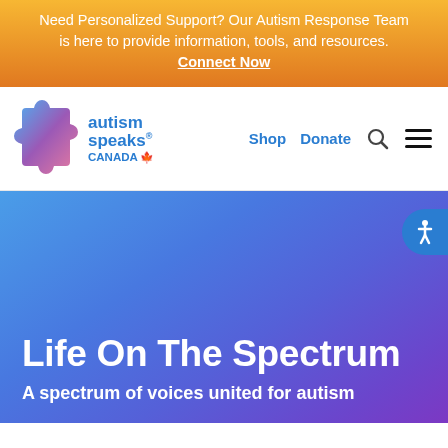Need Personalized Support? Our Autism Response Team is here to provide information, tools, and resources. Connect Now
[Figure (logo): Autism Speaks Canada logo with colorful puzzle piece and text]
Shop   Donate
Life On The Spectrum
A spectrum of voices united for autism